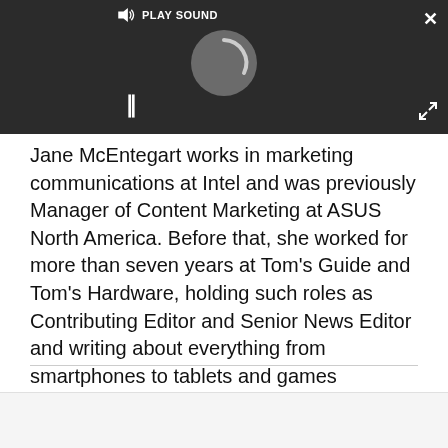[Figure (screenshot): Video player overlay on dark background with PLAY SOUND button, loading spinner, pause button (II), close button (X), and expand/fullscreen button]
Jane McEntegart works in marketing communications at Intel and was previously Manager of Content Marketing at ASUS North America. Before that, she worked for more than seven years at Tom's Guide and Tom's Hardware, holding such roles as Contributing Editor and Senior News Editor and writing about everything from smartphones to tablets and games consoles.